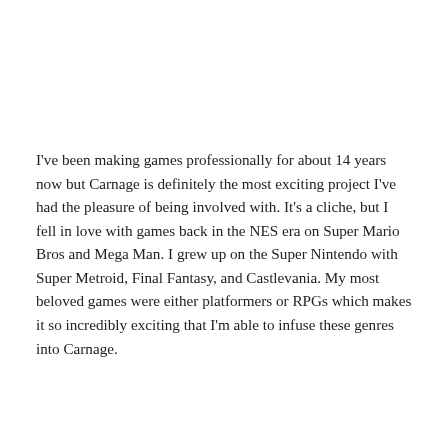I've been making games professionally for about 14 years now but Carnage is definitely the most exciting project I've had the pleasure of being involved with. It's a cliche, but I fell in love with games back in the NES era on Super Mario Bros and Mega Man. I grew up on the Super Nintendo with Super Metroid, Final Fantasy, and Castlevania. My most beloved games were either platformers or RPGs which makes it so incredibly exciting that I'm able to infuse these genres into Carnage.